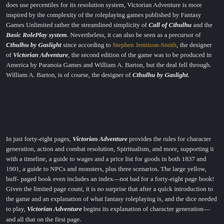does use percentiles for its resolution system, Victorian Adventure is more inspired by the complexity of the roleplaying games published by Fantasy Games Unlimited rather the streamlined simplicity of Call of Cthulhu and the Basic RolePlay system. Nevertheless, it can also be seen as a precursor of Cthulhu by Gaslight since according to Stephen Jennison-Smith, the designer of Victorian Adventure, the second edition of the game was to be produced in America by Paranoia Games and William A. Barton, but the deal fell through. William A. Barton, is of course, the designer of Cthulhu by Gaslight.
In just forty-eight pages, Victorian Adventure provides the rules for character generation, action and combat resolution, Spiritualism, and more, supporting it with a timeline, a guide to wages and a price list for goods in both 1837 and 1901, a guide to NPCs and monsters, plus three scenarios. The large yellow, buff-paged book even includes an index—not bad for a forty-eight page book! Given the limited page count, it is no surprise that after a quick introduction to the game and an explanation of what fantasy roleplaying is, and the dice needed to play, Victorian Adventure begins its explanation of character generation—and all that on the first page.